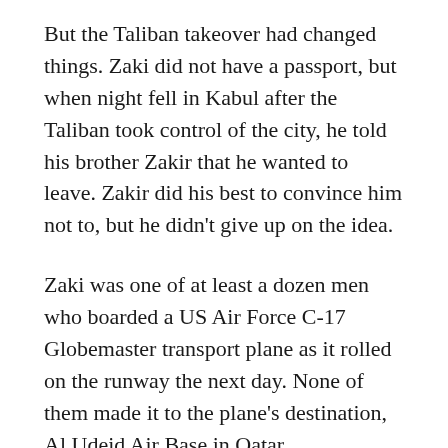But the Taliban takeover had changed things. Zaki did not have a passport, but when night fell in Kabul after the Taliban took control of the city, he told his brother Zakir that he wanted to leave. Zakir did his best to convince him not to, but he didn't give up on the idea.
Zaki was one of at least a dozen men who boarded a US Air Force C-17 Globemaster transport plane as it rolled on the runway the next day. None of them made it to the plane's destination, Al Udeid Air Base in Qatar.